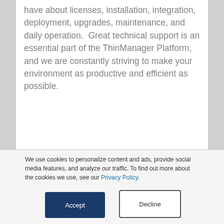have about licenses, installation, integration, deployment, upgrades, maintenance, and daily operation.  Great technical support is an essential part of the ThinManager Platform, and we are constantly striving to make your environment as productive and efficient as possible.
Do you have an application bulletin for using TermSecure with a RFIdeas card scanner?  I have recently purchased a few scanners and wish to set them up with my thin client?
We use cookies to personalize content and ads, provide social media features, and analyze our traffic. To find out more about the cookies we use, see our Privacy Policy.